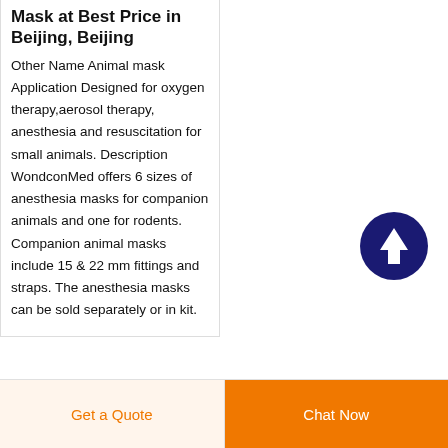Mask at Best Price in Beijing, Beijing
Other Name Animal mask Application Designed for oxygen therapy,aerosol therapy, anesthesia and resuscitation for small animals. Description WondconMed offers 6 sizes of anesthesia masks for companion animals and one for rodents. Companion animal masks include 15 & 22 mm fittings and straps. The anesthesia masks can be sold separately or in kit.
[Figure (illustration): Dark navy blue circular scroll-to-top button with white upward arrow icon]